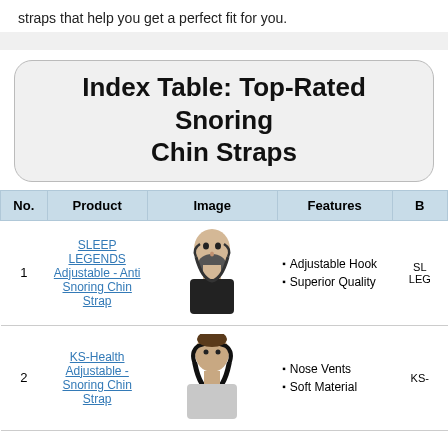straps that help you get a perfect fit for you.
Index Table: Top-Rated Snoring Chin Straps
| No. | Product | Image | Features | B |
| --- | --- | --- | --- | --- |
| 1 | SLEEP LEGENDS Adjustable - Anti Snoring Chin Strap | [image] | Adjustable Hook
Superior Quality | SL LEG |
| 2 | KS-Health Adjustable - Snoring Chin Strap | [image] | Nose Vents
Soft Material | KS- |